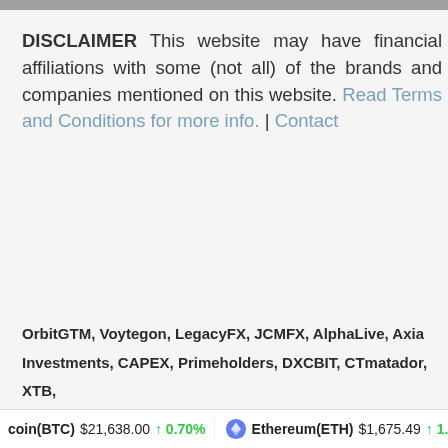DISCLAIMER This website may have financial affiliations with some (not all) of the brands and companies mentioned on this website. Read Terms and Conditions for more info. | Contact
OrbitGTM, Voytegon, LegacyFX, JCMFX, AlphaLive, Axia Investments, CAPEX, Primeholders, DXCBIT, CTmatador, XTB, TradeBaionics, XCGIN, PrimeOakmont, GoldenCoins, Agartha
coin(BTC) $21,638.00 ↑ 0.70% Ethereum(ETH) $1,675.49 ↑ 1.46%